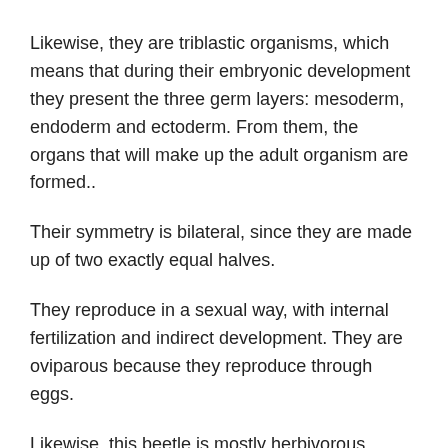Likewise, they are triblastic organisms, which means that during their embryonic development they present the three germ layers: mesoderm, endoderm and ectoderm. From them, the organs that will make up the adult organism are formed..
Their symmetry is bilateral, since they are made up of two exactly equal halves.
They reproduce in a sexual way, with internal fertilization and indirect development. They are oviparous because they reproduce through eggs.
Likewise, this beetle is mostly herbivorous, although the larvae can also feed on corpses in a state of decomposition..
Morphology